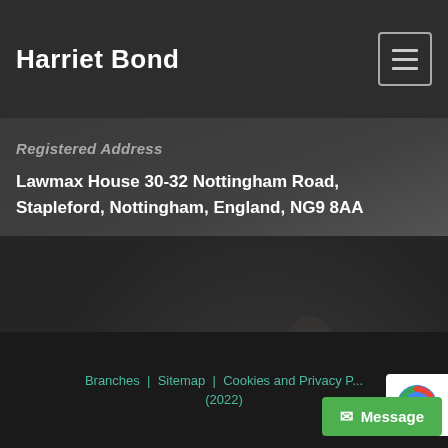Harriet Bond
Registered Address
Lawmax House 30-32 Nottingham Road, Stapleford, Nottingham, England, NG9 8AA
[Figure (photo): Dark background photo showing a person's legs/feet wearing black high-heeled shoes, dimly lit]
Branches | Sitemap | Cookies and Privacy P... (2022)